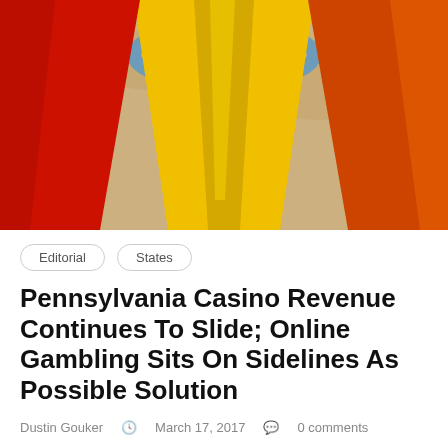[Figure (photo): Colorful playground slide with yellow center slide, red left side, orange right side, with sandy background and blue circular element visible at top]
Editorial   States
Pennsylvania Casino Revenue Continues To Slide; Online Gambling Sits On Sidelines As Possible Solution
Dustin Gouker   March 17, 2017   0 comments